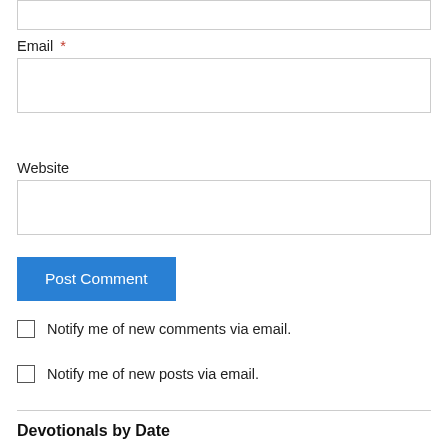Email *
Website
Post Comment
Notify me of new comments via email.
Notify me of new posts via email.
Devotionals by Date